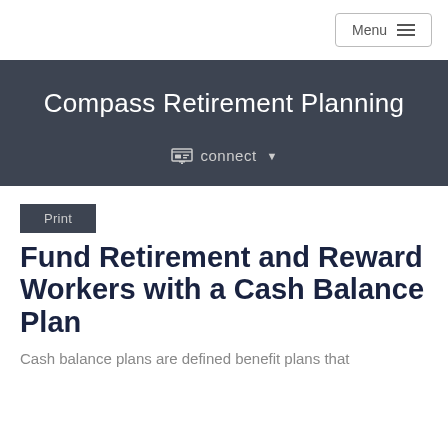Menu
Compass Retirement Planning
connect
Print
Fund Retirement and Reward Workers with a Cash Balance Plan
Cash balance plans are defined benefit plans that